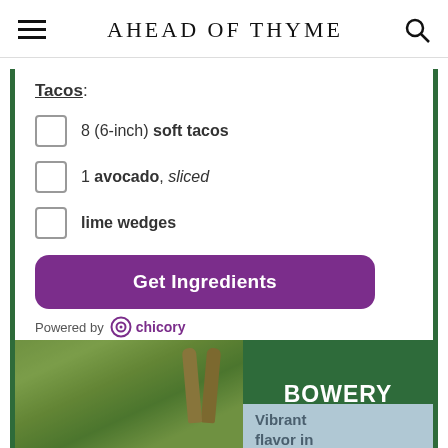AHEAD OF THYME
Tacos:
8 (6-inch) soft tacos
1 avocado, sliced
lime wedges
Get Ingredients
Powered by chicory
[Figure (photo): Advertisement banner: salad photo on left with wooden serving utensils, dark green BOWERY branding on right, text 'Vibrant flavor in' on light blue section below]